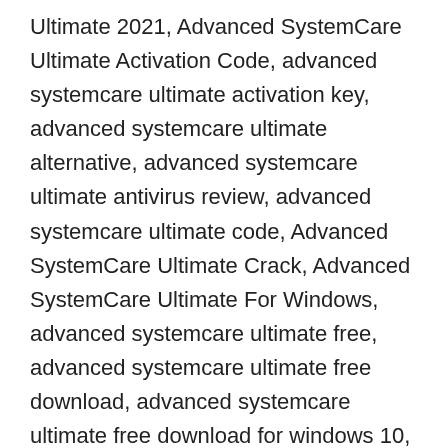Ultimate 2021, Advanced SystemCare Ultimate Activation Code, advanced systemcare ultimate activation key, advanced systemcare ultimate alternative, advanced systemcare ultimate antivirus review, advanced systemcare ultimate code, Advanced SystemCare Ultimate Crack, Advanced SystemCare Ultimate For Windows, advanced systemcare ultimate free, advanced systemcare ultimate free download, advanced systemcare ultimate free download for windows 10, advanced systemcare ultimate full, Advanced SystemCare Ultimate Full Torrent, advanced systemcare ultimate full version, Advanced SystemCare Ultimate Key, advanced systemcare ultimate keygen, Advanced SystemCare Ultimate